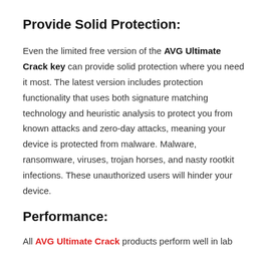Provide Solid Protection:
Even the limited free version of the AVG Ultimate Crack key can provide solid protection where you need it most. The latest version includes protection functionality that uses both signature matching technology and heuristic analysis to protect you from known attacks and zero-day attacks, meaning your device is protected from malware. Malware, ransomware, viruses, trojan horses, and nasty rootkit infections. These unauthorized users will hinder your device.
Performance:
All AVG Ultimate Crack products perform well in lab